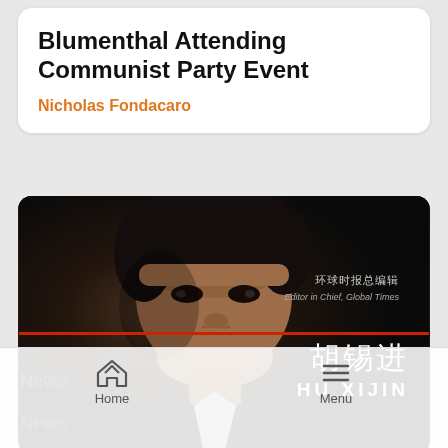Blumenthal Attending Communist Party Event
Nicholas Fondacaro
[Figure (photo): Portrait photo of Hu Xijin, Editor in Chief of Global Times, with Chinese text overlay reading 环球时报总编辑 (Editor in Chief, Global Times) and name 胡锡进 / HU XIJIN, with a red horizontal line across the image]
Home   Menu